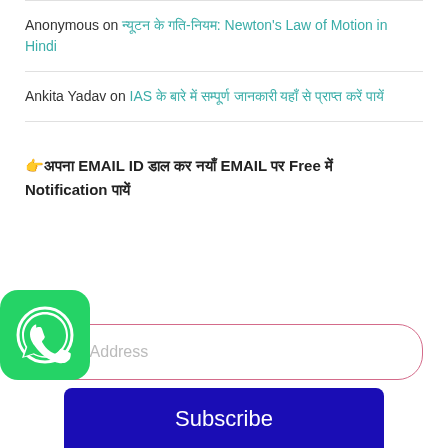Anonymous on न्यूटन के गति-नियम: Newton's Law of Motion in Hindi
Ankita Yadav on IAS के बारे में सम्पूर्ण जानकारी यहाँ से प्राप्त करें पायें
👉अपना EMAIL ID डाल कर नयाँ EMAIL पर Free में Notification पायें
[Figure (screenshot): Email subscription form with pink-bordered rounded input field showing placeholder 'Email Address' and a dark blue 'Subscribe' button below]
[Figure (logo): WhatsApp green rounded square icon in bottom-left corner]